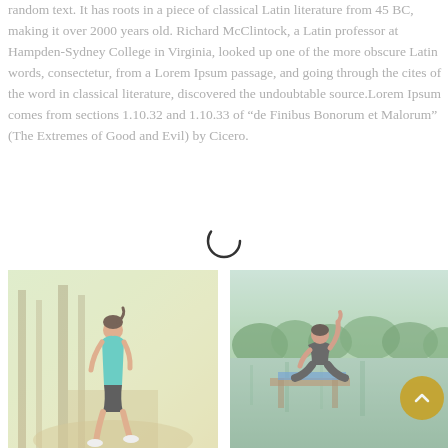random text. It has roots in a piece of classical Latin literature from 45 BC, making it over 2000 years old. Richard McClintock, a Latin professor at Hampden-Sydney College in Virginia, looked up one of the more obscure Latin words, consectetur, from a Lorem Ipsum passage, and going through the cites of the word in classical literature, discovered the undoubtable source.Lorem Ipsum comes from sections 1.10.32 and 1.10.33 of “de Finibus Bonorum et Malorum” (The Extremes of Good and Evil) by Cicero.
[Figure (photo): A person running on a forest path, wearing a teal/green tank top and dark shorts, viewed from behind. Warm golden light filters through trees.]
[Figure (photo): A person sitting by a lake or water body, viewed from behind, with green trees reflected in the water. A calm outdoor meditation or yoga scene.]